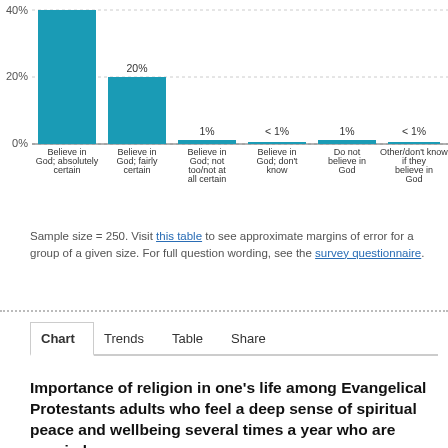[Figure (bar-chart): Belief in God among Evangelical Protestants (partial view)]
Sample size = 250. Visit this table to see approximate margins of error for a group of a given size. For full question wording, see the survey questionnaire.
Chart  Trends  Table  Share
Importance of religion in one's life among Evangelical Protestants adults who feel a deep sense of spiritual peace and wellbeing several times a year who are married